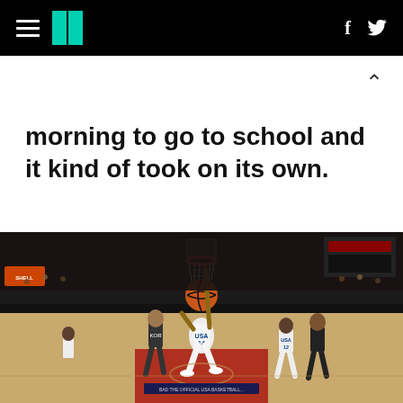HuffPost navigation header with hamburger menu, logo, Facebook and Twitter icons
morning to go to school and it kind of took on its own.
[Figure (photo): Basketball game photo: USA player #14 dunking the ball in an indoor arena, with opposing players watching. USA team in white uniforms, opponent in dark uniforms. Indoor NBA-style arena with packed crowd.]